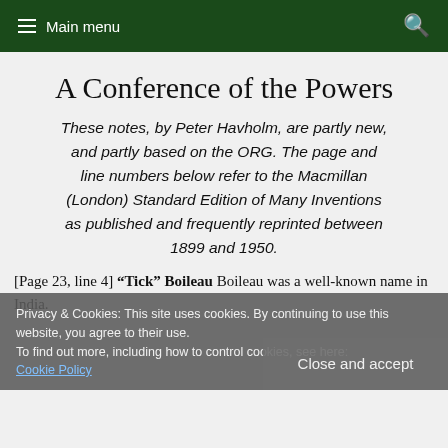Main menu | Search
A Conference of the Powers
These notes, by Peter Havholm, are partly new, and partly based on the ORG. The page and line numbers below refer to the Macmillan (London) Standard Edition of Many Inventions as published and frequently reprinted between 1899 and 1950.
Privacy & Cookies: This site uses cookies. By continuing to use this website, you agree to their use. To find out more, including how to control cookies, see here: Cookie Policy
[Page 23, line 4] "Tick" Boileau Boileau was a well-known name in India.